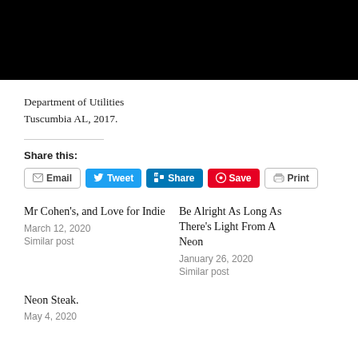[Figure (photo): Black image area at top of page]
Department of Utilities
Tuscumbia AL, 2017.
Share this:
Email | Tweet | Share | Save | Print
Mr Cohen's, and Love for Indie
March 12, 2020
Similar post
Be Alright As Long As There's Light From A Neon
January 26, 2020
Similar post
Neon Steak.
May 4, 2020